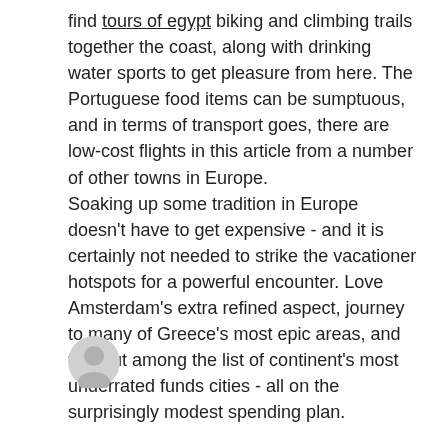find tours of egypt biking and climbing trails together the coast, along with drinking water sports to get pleasure from here. The Portuguese food items can be sumptuous, and in terms of transport goes, there are low-cost flights in this article from a number of other towns in Europe.
Soaking up some tradition in Europe doesn't have to get expensive - and it is certainly not needed to strike the vacationer hotspots for a powerful encounter. Love Amsterdam's extra refined aspect, journey to many of Greece's most epic areas, and find out among the list of continent's most underrated funds cities - all on the surprisingly modest spending plan.
[Figure (illustration): Small circular avatar icon showing a generic user silhouette in light gray]